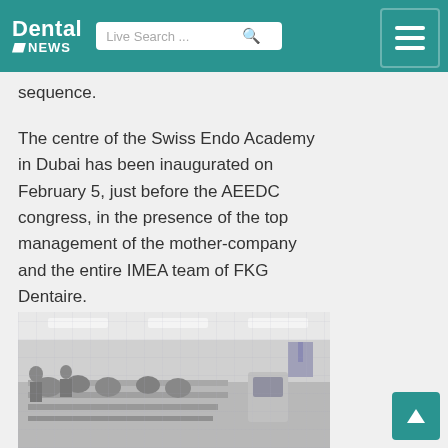Dental NEWS
sequence.
The centre of the Swiss Endo Academy in Dubai has been inaugurated on February 5, just before the AEEDC congress, in the presence of the top management of the mother-company and the entire IMEA team of FKG Dentaire.
[Figure (photo): Interior of a dental training facility or academy showing rows of dental chairs/workstations with equipment, overhead lighting, and several people in the space.]